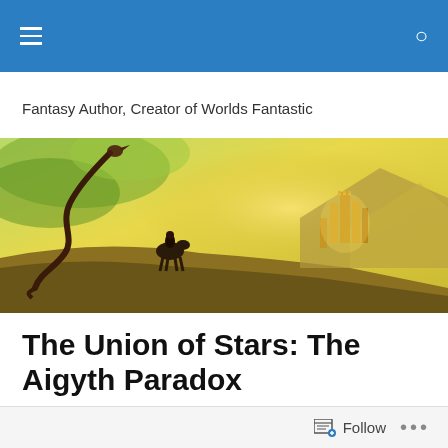Navigation bar with menu and search icons
Fantasy Author, Creator of Worlds Fantastic
[Figure (illustration): Fantasy landscape banner showing a dragon, a rider on horseback, and a distant glowing castle under a yellow-green sky]
The Union of Stars: The Aigyth Paradox
And so we come to discuss the Dryth.
Follow   ...